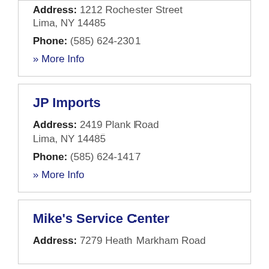Corby's Collision Inc
Address: 1212 Rochester Street
Lima, NY 14485
Phone: (585) 624-2301
» More Info
JP Imports
Address: 2419 Plank Road
Lima, NY 14485
Phone: (585) 624-1417
» More Info
Mike's Service Center
Address: 7279 Heath Markham Road